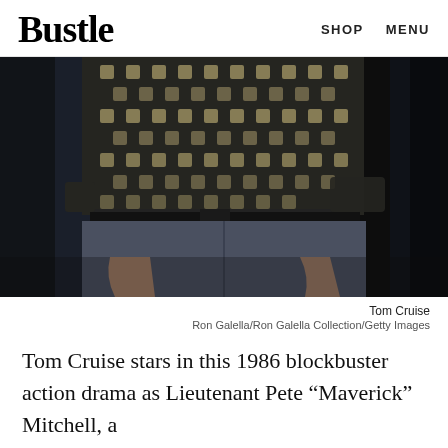Bustle  SHOP  MENU
[Figure (photo): Close-up photo of Tom Cruise from behind/side showing a patterned shirt with geometric diamond print, black belt, and grey trousers with hands in pockets. Dark background.]
Tom Cruise
Ron Galella/Ron Galella Collection/Getty Images
Tom Cruise stars in this 1986 blockbuster action drama as Lieutenant Pete “Maverick” Mitchell, a